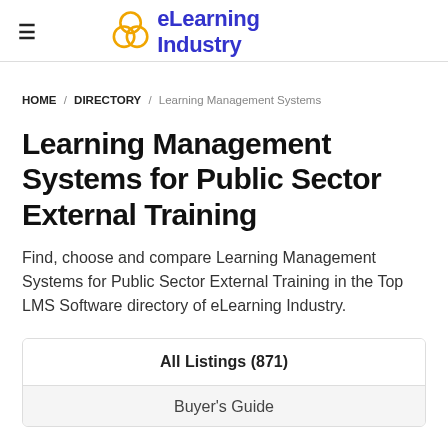≡  eLearning Industry
HOME / DIRECTORY / Learning Management Systems
Learning Management Systems for Public Sector External Training
Find, choose and compare Learning Management Systems for Public Sector External Training in the Top LMS Software directory of eLearning Industry.
All Listings (871)
Buyer's Guide